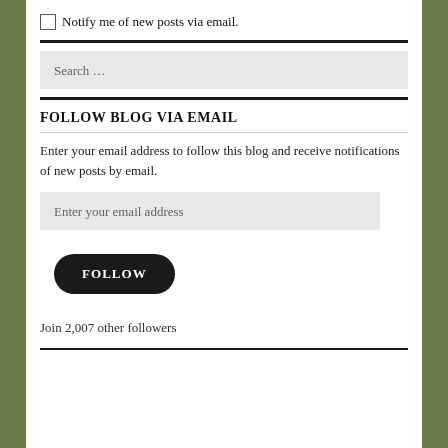Notify me of new posts via email.
FOLLOW BLOG VIA EMAIL
Enter your email address to follow this blog and receive notifications of new posts by email.
Enter your email address
FOLLOW
Join 2,007 other followers